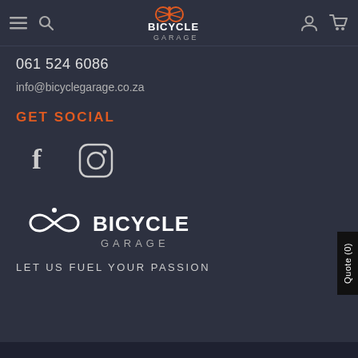Bicycle Garage navigation bar with menu, search, logo, account, cart icons
061 524 6086
info@bicyclegarage.co.za
GET SOCIAL
[Figure (logo): Facebook and Instagram social media icons]
[Figure (logo): Bicycle Garage logo - white infinity/bicycle symbol with BICYCLE GARAGE text]
LET US FUEL YOUR PASSION